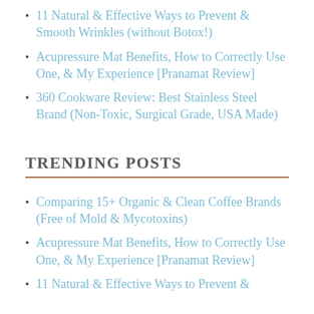11 Natural & Effective Ways to Prevent & Smooth Wrinkles (without Botox!)
Acupressure Mat Benefits, How to Correctly Use One, & My Experience [Pranamat Review]
360 Cookware Review: Best Stainless Steel Brand (Non-Toxic, Surgical Grade, USA Made)
TRENDING POSTS
Comparing 15+ Organic & Clean Coffee Brands (Free of Mold & Mycotoxins)
Acupressure Mat Benefits, How to Correctly Use One, & My Experience [Pranamat Review]
11 Natural & Effective Ways to Prevent &